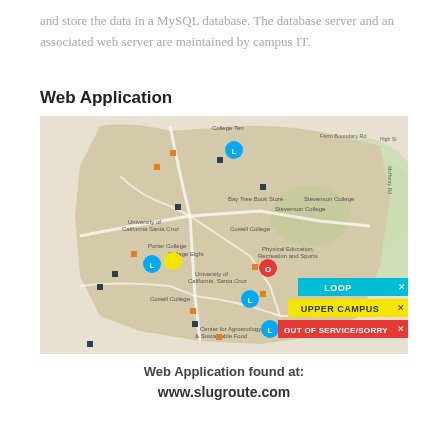and store the data in a MySQL database. The database server and an associated web server are maintained by campus IT.
Web Application
[Figure (map): Campus map of UC Santa Cruz showing bus route markers including LOOP (blue), UPPER CAMPUS (yellow), and OUT OF SERVICE/SORRY (red) route legend overlays. Multiple bus stop markers (blue circle L, red circle O, yellow circle, blue/orange squares) are shown at various campus locations.]
Web Application found at:
www.slugroute.com